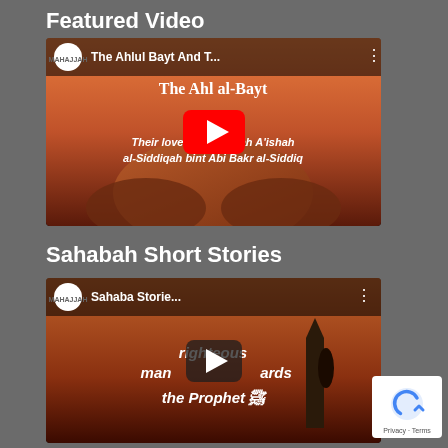Featured Video
[Figure (screenshot): YouTube video thumbnail for 'The Ahlul Bayt And T...' showing text about their love for Sayyidah A'ishah al-Siddiqah bint Abi Bakr al-Siddiq with a red play button overlay]
Sahabah Short Stories
[Figure (screenshot): YouTube video thumbnail titled 'Sahaba Storie...' showing text about a righteous man towards the Prophet with a dark play button overlay]
[Figure (screenshot): reCAPTCHA badge showing Privacy and Terms text]